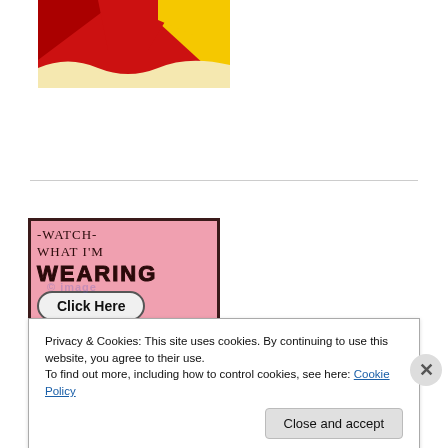[Figure (illustration): Colorful flag/banner graphic with red, yellow, and dark red triangular shapes on a white background, partially cropped at top]
[Figure (infographic): Fashion link party advertisement box with dark brown border, pink background. Text: '-WATCH- WHAT I'M WEARING', a 'Click Here' button, and 'Fashion Link Party' label at the bottom.]
Privacy & Cookies: This site uses cookies. By continuing to use this website, you agree to their use.
To find out more, including how to control cookies, see here: Cookie Policy
Close and accept